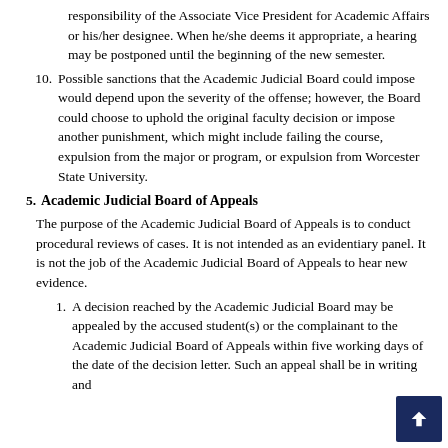responsibility of the Associate Vice President for Academic Affairs or his/her designee. When he/she deems it appropriate, a hearing may be postponed until the beginning of the new semester.
10. Possible sanctions that the Academic Judicial Board could impose would depend upon the severity of the offense; however, the Board could choose to uphold the original faculty decision or impose another punishment, which might include failing the course, expulsion from the major or program, or expulsion from Worcester State University.
5. Academic Judicial Board of Appeals
The purpose of the Academic Judicial Board of Appeals is to conduct procedural reviews of cases. It is not intended as an evidentiary panel. It is not the job of the Academic Judicial Board of Appeals to hear new evidence.
1. A decision reached by the Academic Judicial Board may be appealed by the accused student(s) or the complainant to the Academic Judicial Board of Appeals within five working days of the date of the decision letter. Such an appeal shall be in writing and